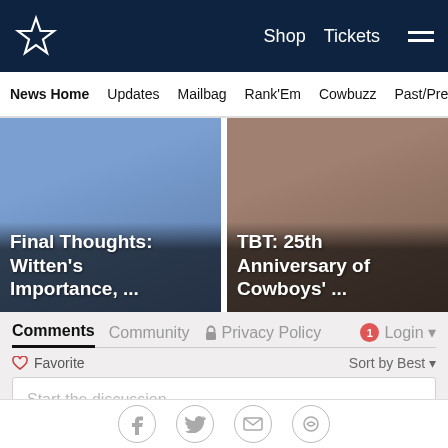Dallas Cowboys website header with star logo, Shop, Tickets navigation
News Home   Updates   Mailbag   Rank'Em   Cowbuzz   Past/Pres
[Figure (photo): Article thumbnail: Final Thoughts: Witten's Importance, ...]
[Figure (photo): Article thumbnail: TBT: 25th Anniversary of Cowboys' ...]
Comments
Community   Privacy Policy   Login
Favorite   Sort by Best
Start the discussion...
LOG IN WITH